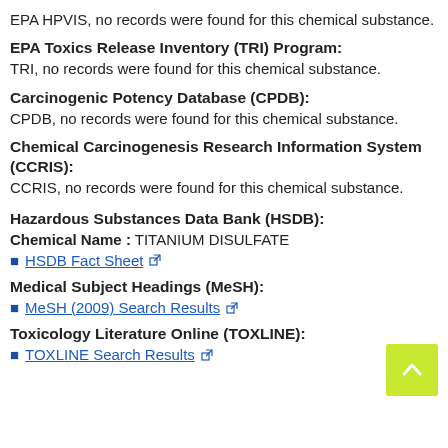EPA HPVIS, no records were found for this chemical substance.
EPA Toxics Release Inventory (TRI) Program:
TRI, no records were found for this chemical substance.
Carcinogenic Potency Database (CPDB):
CPDB, no records were found for this chemical substance.
Chemical Carcinogenesis Research Information System (CCRIS):
CCRIS, no records were found for this chemical substance.
Hazardous Substances Data Bank (HSDB):
Chemical Name :  TITANIUM DISULFATE
HSDB Fact Sheet
Medical Subject Headings (MeSH):
MeSH (2009) Search Results
Toxicology Literature Online (TOXLINE):
TOXLINE Search Results